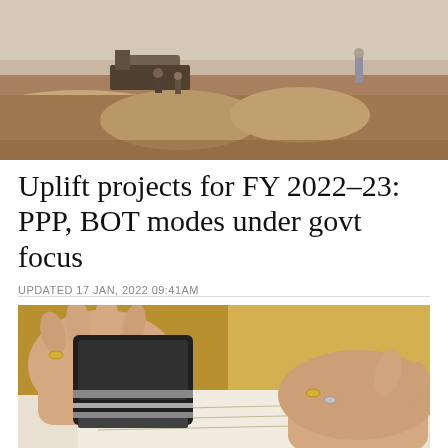[Figure (photo): Construction site with workers digging in dry, dusty terrain. A person stands to the right surveying the work. Heavy machinery visible in the background.]
Uplift projects for FY 2022–23: PPP, BOT modes under govt focus
UPDATED 17 JAN, 2022 09:41AM
[Figure (photo): Close-up of hands stamping documents with a rubber stamp. Gold/yellow background visible. Person wearing rings on both hands.]